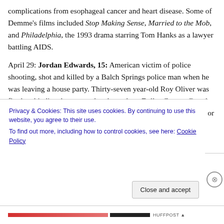complications from esophageal cancer and heart disease. Some of Demme’s films included Stop Making Sense, Married to the Mob, and Philadelphia, the 1993 drama starring Tom Hanks as a lawyer battling AIDS.
April 29: Jordan Edwards, 15: American victim of police shooting, shot and killed by a Balch Springs police man when he was leaving a house party. Thirty-seven year-old Roy Oliver was fired and indicted on a murder charge by a Dallas County Grand Jury. He was also indicted on four counts of aggravated assault for firing his rifle into a car
Privacy & Cookies: This site uses cookies. By continuing to use this website, you agree to their use.
To find out more, including how to control cookies, see here: Cookie Policy
Close and accept